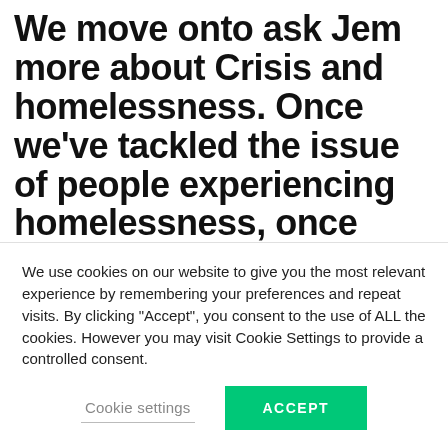We move onto ask Jem more about Crisis and homelessness. Once we've tackled the issue of people experiencing homelessness, once that's been resolved, what do we need to then put in place in terms of preventative action?
"What causes homelessness?! I'm about to read an...
We use cookies on our website to give you the most relevant experience by remembering your preferences and repeat visits. By clicking "Accept", you consent to the use of ALL the cookies. However you may visit Cookie Settings to provide a controlled consent.